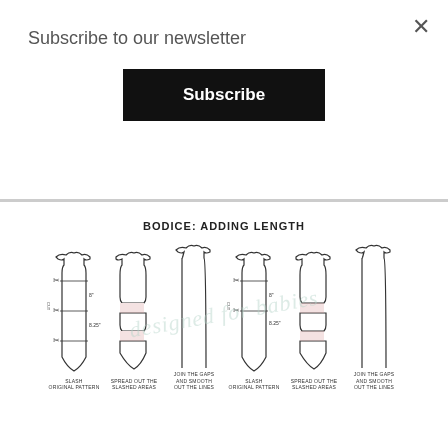Subscribe to our newsletter
Subscribe
×
[Figure (illustration): Sewing pattern diagram showing 'BODICE: ADDING LENGTH' with six bodice pattern pieces illustrating steps: SLASH ORIGINAL PATTERN, SPREAD OUT THE SLASHED AREAS, JOIN THE GAPS AND SMOOTH OUT THE LINES, repeated twice with measurements of 8" and 8.25" shown.]
SLASH ORIGINAL PATTERN
SPREAD OUT THE SLASHED AREAS
JOIN THE GAPS AND SMOOTH OUT THE LINES
SLASH ORIGINAL PATTERN
SPREAD OUT THE SLASHED AREAS
JOIN THE GAPS AND SMOOTH OUT THE LINES